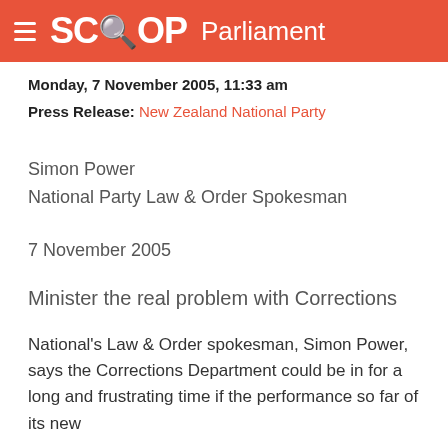SCOOP Parliament
Monday, 7 November 2005, 11:33 am
Press Release: New Zealand National Party
Simon Power
National Party Law & Order Spokesman
7 November 2005
Minister the real problem with Corrections
National's Law & Order spokesman, Simon Power, says the Corrections Department could be in for a long and frustrating time if the performance so far of its new